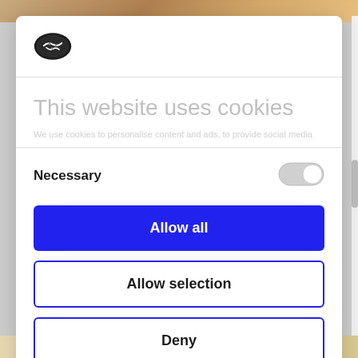[Figure (logo): Cookiebot logo — dark oval shape with check mark]
This website uses cookies
(faded/blurred subtitle text about cookies)
Necessary
Allow all
Allow selection
Deny
Powered by Cookiebot by Usercentrics